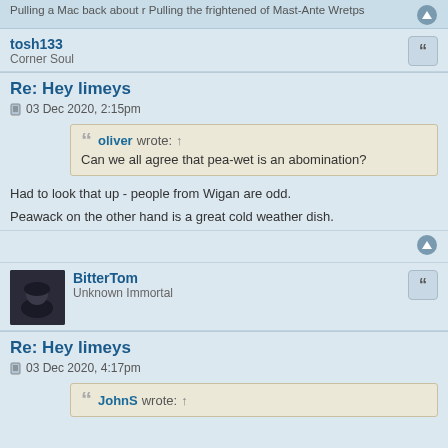Pulling a Mac back about r Pulling the frightened of Mast-Ante Wretps
tosh133
Corner Soul
Re: Hey limeys
03 Dec 2020, 2:15pm
oliver wrote: ↑
Can we all agree that pea-wet is an abomination?
Had to look that up - people from Wigan are odd.
Peawack on the other hand is a great cold weather dish.
BitterTom
Unknown Immortal
Re: Hey limeys
03 Dec 2020, 4:17pm
JohnS wrote: ↑